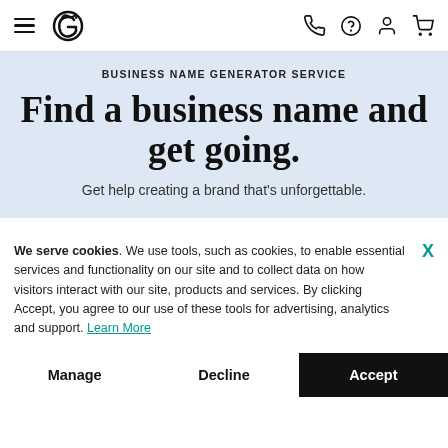GoDaddy navigation bar with hamburger menu, logo, phone, help, account, and cart icons
BUSINESS NAME GENERATOR SERVICE
Find a business name and get going.
Get help creating a brand that's unforgettable.
We serve cookies. We use tools, such as cookies, to enable essential services and functionality on our site and to collect data on how visitors interact with our site, products and services. By clicking Accept, you agree to our use of these tools for advertising, analytics and support. Learn More
Manage | Decline | Accept